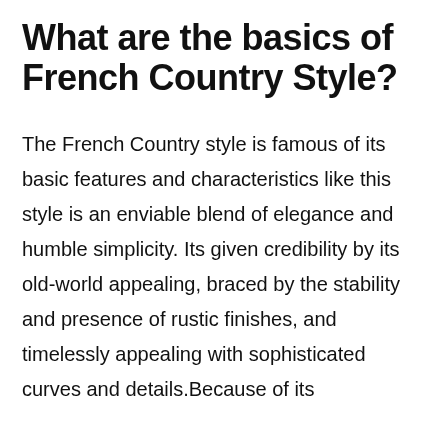What are the basics of French Country Style?
The French Country style is famous of its basic features and characteristics like this style is an enviable blend of elegance and humble simplicity. Its given credibility by its old-world appealing, braced by the stability and presence of rustic finishes, and timelessly appealing with sophisticated curves and details.Because of its